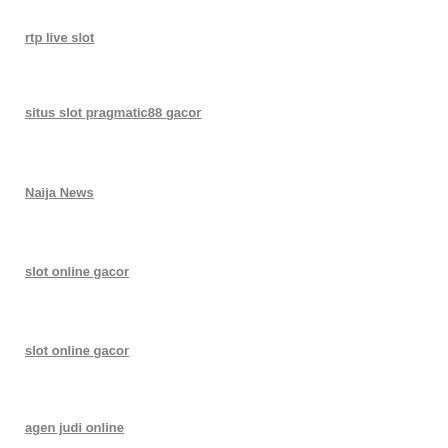rtp live slot
situs slot pragmatic88 gacor
Naija News
slot online gacor
slot online gacor
agen judi online